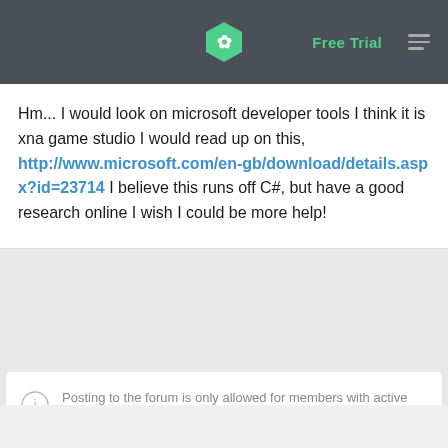Free Trial
Hm... I would look on microsoft developer tools I think it is xna game studio I would read up on this, http://www.microsoft.com/en-gb/download/details.aspx?id=23714 I believe this runs off C#, but have a good research online I wish I could be more help!
Posting to the forum is only allowed for members with active accounts. Please sign in or sign up to post.